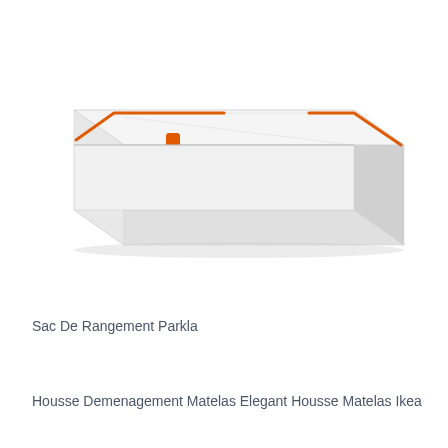[Figure (photo): A white rectangular storage bag (IKEA Parkla) with transparent top panel and orange zipper pull/handles, photographed in perspective view against a white background.]
Sac De Rangement Parkla
Housse Demenagement Matelas Elegant Housse Matelas Ikea